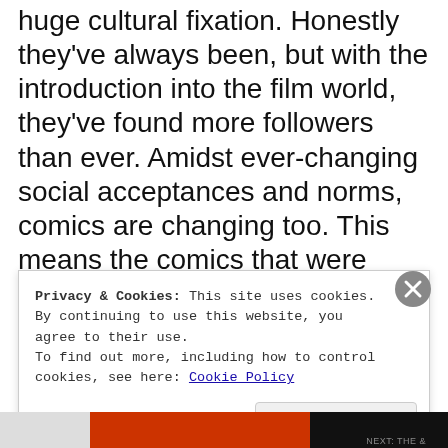huge cultural fixation. Honestly they've always been, but with the introduction into the film world, they've found more followers than ever. Amidst ever-changing social acceptances and norms, comics are changing too. This means the comics that were once so white and male they'd have been lost in the snow and not have been able to see anyone to not ask directions from, are kind of getting a face lift. It's about time.
Privacy & Cookies: This site uses cookies. By continuing to use this website, you agree to their use.
To find out more, including how to control cookies, see here: Cookie Policy
Close and accept
[Figure (other): Bottom image strip with orange and black color blocks, partially visible]